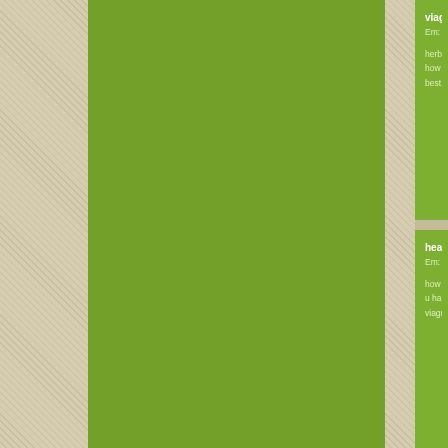[Figure (screenshot): Website sidebar with green background panels showing blog post entries. Left side has beige diagonal-striped background with a large green content area. Right side shows three partially visible blog post cards with titles 'viagra in c...', 'healthy d...', 'cbd hemp...' each showing date 'Em: 18/11...' and related link text.]
viagra in c
Em: 18/11...
herbal viag...
how to buy...
best subst...
healthy d...
Em: 18/11...
how much...
u hard cos...
viagra
cbd hemp...
Em: 18/11...
how to us...